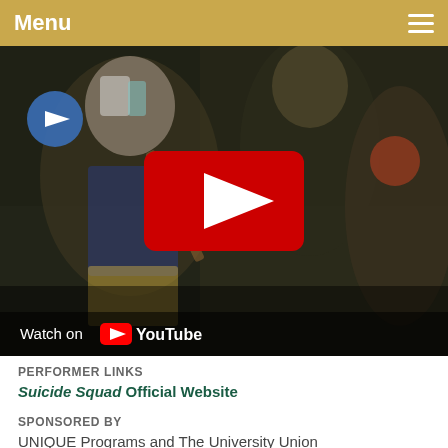Menu
[Figure (screenshot): YouTube video thumbnail showing costumed characters from Suicide Squad movie, with a red YouTube play button overlay and 'Watch on YouTube' text at the bottom]
PERFORMER LINKS
Suicide Squad Official Website
SPONSORED BY
UNIQUE Programs and The University Union